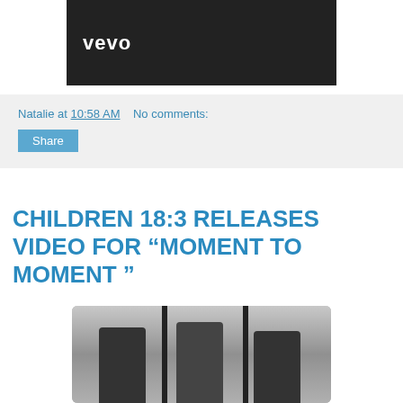[Figure (screenshot): Vevo video thumbnail — dark background with white Vevo logo text in lower left]
Natalie at 10:58 AM    No comments:
Share
CHILDREN 18:3 RELEASES VIDEO FOR "MOMENT TO MOMENT "
[Figure (photo): Black and white photo of three people (band members) standing in front of large glass panels or windows]